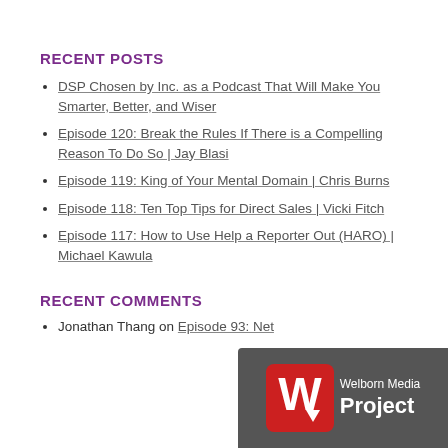RECENT POSTS
DSP Chosen by Inc. as a Podcast That Will Make You Smarter, Better, and Wiser
Episode 120: Break the Rules If There is a Compelling Reason To Do So | Jay Blasi
Episode 119: King of Your Mental Domain | Chris Burns
Episode 118: Ten Top Tips for Direct Sales | Vicki Fitch
Episode 117: How to Use Help a Reporter Out (HARO) | Michael Kawula
RECENT COMMENTS
Jonathan Thang on Episode 93: Net…
[Figure (logo): Welborn Media Project logo watermark in bottom right corner — red W icon on grey background with text 'Welborn Media Project']